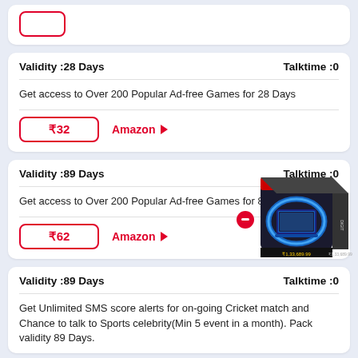Validity :28 Days   Talktime :0
Get access to Over 200 Popular Ad-free Games for 28 Days
₹32   Amazon ▶
Validity :89 Days   Talktime :0
Get access to Over 200 Popular Ad-free Games for 89 Days
₹62   Amazon ▶
[Figure (photo): Product box image with laptop and gaming graphics, showing price ₹1,33,689.99]
Validity :89 Days   Talktime :0
Get Unlimited SMS score alerts for on-going Cricket match and Chance to talk to Sports celebrity(Min 5 event in a month). Pack validity 89 Days.